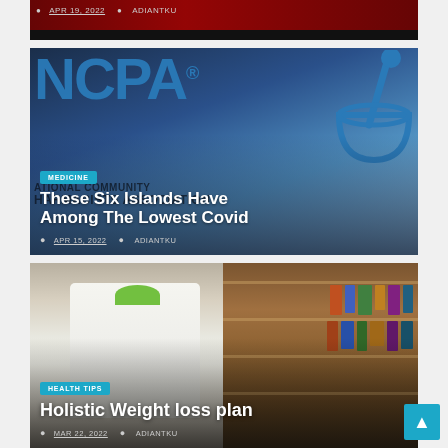[Figure (photo): Partially visible dark background card with date APR 19, 2022 and author ADIANTKU]
APR 19, 2022  ADIANTKU
[Figure (photo): NCPA (National Community Pharmacists Association) logo card with MEDICINE badge and article title about six islands with lowest Covid rates. Date APR 15, 2022 by ADIANTKU.]
MEDICINE
These Six Islands Have Among The Lowest Covid
APR 15, 2022  ADIANTKU
[Figure (photo): Pharmacist in white coat standing in pharmacy with shelves of medicine behind. HEALTH TIPS badge and Holistic Weight loss plan title. Date MAR 22, 2022 by ADIANTKU.]
HEALTH TIPS
Holistic Weight loss plan
MAR 22, 2022  ADIANTKU